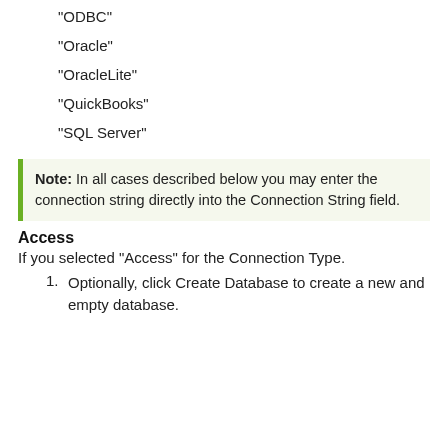"ODBC"
"Oracle"
"OracleLite"
"QuickBooks"
"SQL Server"
Note: In all cases described below you may enter the connection string directly into the Connection String field.
Access
If you selected "Access" for the Connection Type.
Optionally, click Create Database to create a new and empty database.